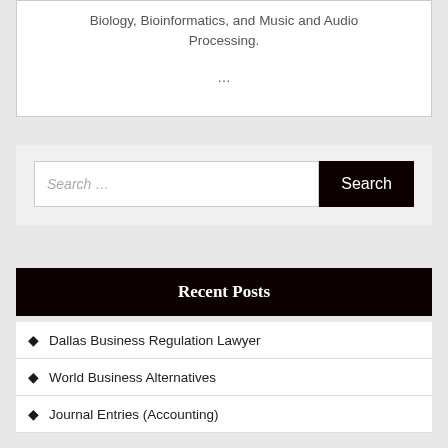Biology, Bioinformatics, and Music and Audio Processing.
…
Search …
Recent Posts
Dallas Business Regulation Lawyer
World Business Alternatives
Journal Entries (Accounting)